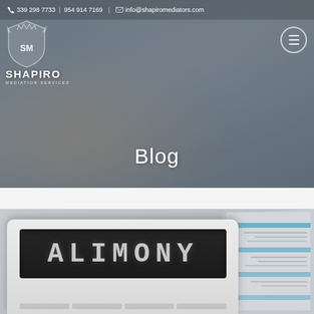339 298 7733 | 954 914 7169 | info@shapiromediators.com
[Figure (photo): Header banner photo showing a person writing in a notebook with a laptop and smartphone in the background, overlaid with a semi-transparent dark tint. Contains the Shapiro Mediation Services logo on the left and a hamburger menu button on the top right.]
Blog
[Figure (photo): Close-up photo of a calculator displaying the word ALIMONY on its screen, with financial spreadsheet papers visible in the background on the right side.]